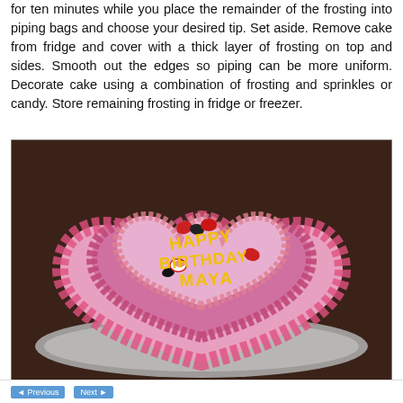for ten minutes while you place the remainder of the frosting into piping bags and choose your desired tip. Set aside. Remove cake from fridge and cover with a thick layer of frosting on top and sides. Smooth out the edges so piping can be more uniform. Decorate cake using a combination of frosting and sprinkles or candy. Store remaining frosting in fridge or freezer.
[Figure (photo): A two-tiered heart-shaped birthday cake decorated with pink and red frosting rosettes and flowers, candy hearts on top, and yellow piped lettering reading 'HAPPY BIRTHDAY MAYA', placed on a silver cake board on a dark surface.]
[button] [button]